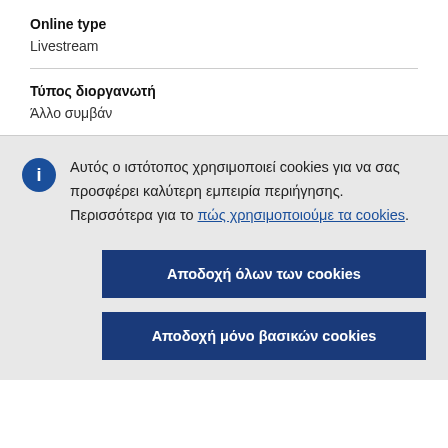Online type
Livestream
Τύπος διοργανωτή
Άλλο συμβάν
Αυτός ο ιστότοπος χρησιμοποιεί cookies για να σας προσφέρει καλύτερη εμπειρία περιήγησης. Περισσότερα για το πώς χρησιμοποιούμε τα cookies.
Αποδοχή όλων των cookies
Αποδοχή μόνο βασικών cookies